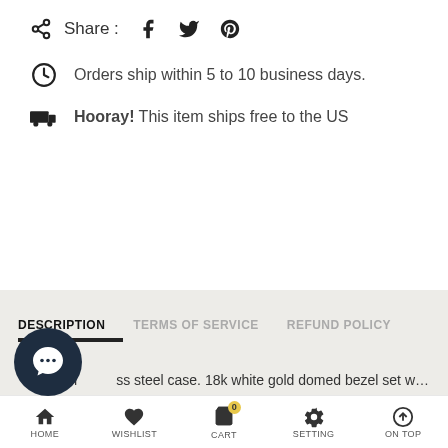Share : [facebook] [twitter] [pinterest]
Orders ship within 5 to 10 business days.
Hooray! This item ships free to the US
DESCRIPTION   TERMS OF SERVICE   REFUND POLICY
31m...ss steel case. 18k white gold domed bezel set with 24
HOME   WISHLIST   CART   SETTING   ON TOP